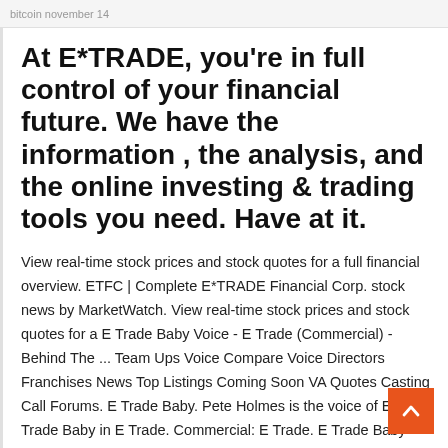bitcoin november 14
At E*TRADE, you're in full control of your financial future. We have the information , the analysis, and the online investing & trading tools you need. Have at it.
View real-time stock prices and stock quotes for a full financial overview. ETFC | Complete E*TRADE Financial Corp. stock news by MarketWatch. View real-time stock prices and stock quotes for a E Trade Baby Voice - E Trade (Commercial) - Behind The ... Team Ups Voice Compare Voice Directors Franchises News Top Listings Coming Soon VA Quotes Casting Call Forums. E Trade Baby. Pete Holmes is the voice of E Trade Baby in E Trade. Commercial: E Trade. E Trade Baby VOICE. Pete Holmes. Comments ... Top 176 Reviews about e*Trade - ConsumerAffairs